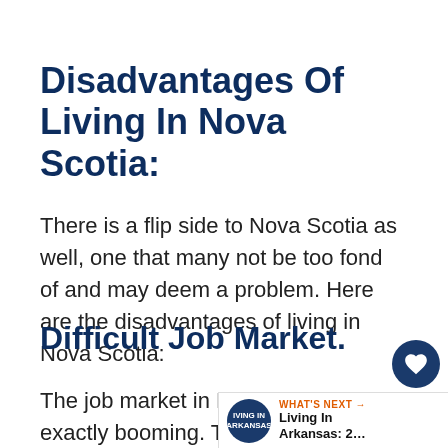Disadvantages Of Living In Nova Scotia:
There is a flip side to Nova Scotia as well, one that many not be too fond of and may deem a problem. Here are the disadvantages of living in Nova Scotia:
Difficult Job Market.
The job market in Nova Scotia is not exactly booming. There are good, where there are a lot of opportunities to